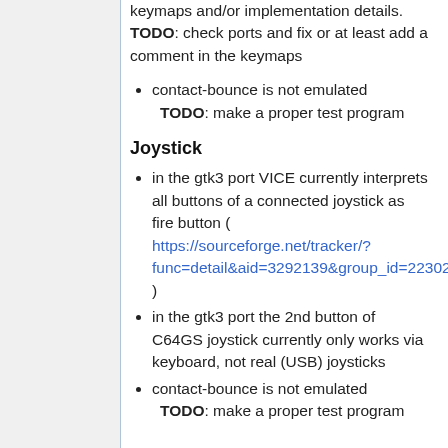keymaps and/or implementation details. TODO: check ports and fix or at least add a comment in the keymaps
contact-bounce is not emulated
TODO: make a proper test program
Joystick
in the gtk3 port VICE currently interprets all buttons of a connected joystick as fire button ( https://sourceforge.net/tracker/?func=detail&aid=3292139&group_id=223021&atid=1057620 )
in the gtk3 port the 2nd button of C64GS joystick currently only works via keyboard, not real (USB) joysticks
contact-bounce is not emulated
TODO: make a proper test program